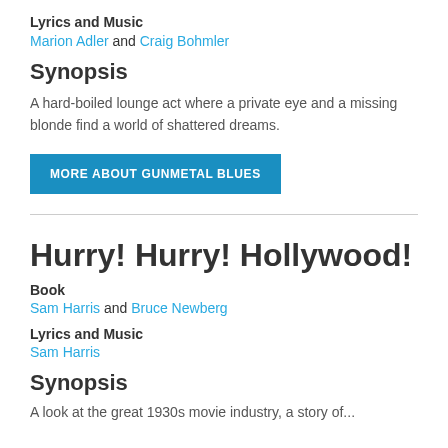Lyrics and Music
Marion Adler and Craig Bohmler
Synopsis
A hard-boiled lounge act where a private eye and a missing blonde find a world of shattered dreams.
MORE ABOUT GUNMETAL BLUES
Hurry! Hurry! Hollywood!
Book
Sam Harris and Bruce Newberg
Lyrics and Music
Sam Harris
Synopsis
A look at...